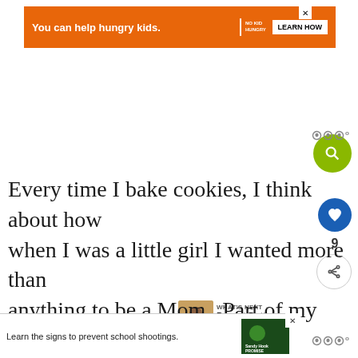[Figure (screenshot): Orange ad banner: 'You can help hungry kids.' with No Kid Hungry logo and 'LEARN HOW' button]
Every time I bake cookies, I think about how when I was a little girl I wanted more than anything to be a Mom.  Part of my idea of wh the perfect Mom would do is bake cookies for her kids.  Like, all the time.  In my Mom the Mom makes fresh baked cookies for her kids at
[Figure (screenshot): Bottom ad banner: 'Learn the signs to prevent school shootings.' with Sandy Hook Promise logo]